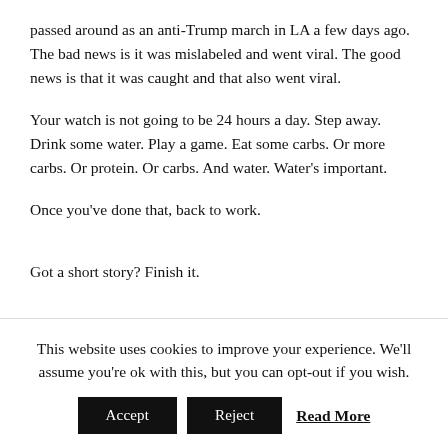passed around as an anti-Trump march in LA a few days ago. The bad news is it was mislabeled and went viral. The good news is that it was caught and that also went viral.
Your watch is not going to be 24 hours a day. Step away. Drink some water. Play a game. Eat some carbs. Or more carbs. Or protein. Or carbs. And water. Water's important.
Once you've done that, back to work.
Got a short story? Finish it.
This website uses cookies to improve your experience. We'll assume you're ok with this, but you can opt-out if you wish.